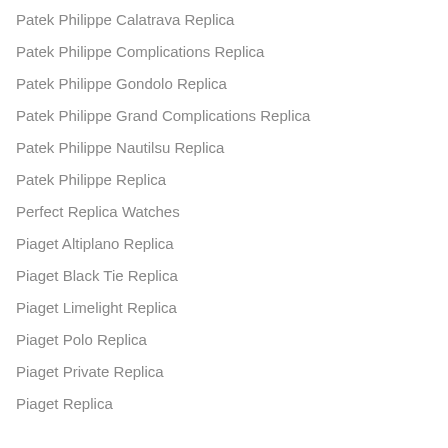Patek Philippe Calatrava Replica
Patek Philippe Complications Replica
Patek Philippe Gondolo Replica
Patek Philippe Grand Complications Replica
Patek Philippe Nautilsu Replica
Patek Philippe Replica
Perfect Replica Watches
Piaget Altiplano Replica
Piaget Black Tie Replica
Piaget Limelight Replica
Piaget Polo Replica
Piaget Private Replica
Piaget Replica